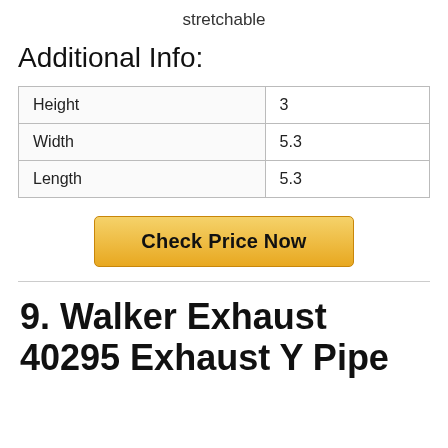stretchable
Additional Info:
| Height | 3 |
| Width | 5.3 |
| Length | 5.3 |
[Figure (other): Check Price Now button]
9. Walker Exhaust 40295 Exhaust Y Pipe